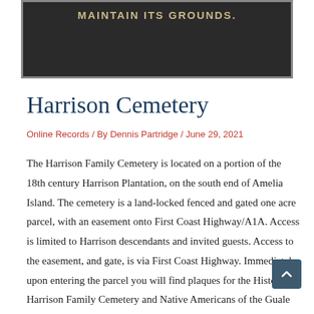[Figure (photo): Close-up photo of a dark bronze or metal plaque with the text 'MAINTAIN ITS GROUNDS.' visible in raised capital letters on a dark background.]
Harrison Cemetery
Online Records / By Dennis Partridge / June 29, 2021
The Harrison Family Cemetery is located on a portion of the 18th century Harrison Plantation, on the south end of Amelia Island. The cemetery is a land-locked fenced and gated one acre parcel, with an easement onto First Coast Highway/A1A. Access is limited to Harrison descendants and invited guests. Access to the easement, and gate, is via First Coast Highway. Immediately upon entering the parcel you will find plaques for the Historic Harrison Family Cemetery and Native Americans of the Guale Tribe, who were reburied on the